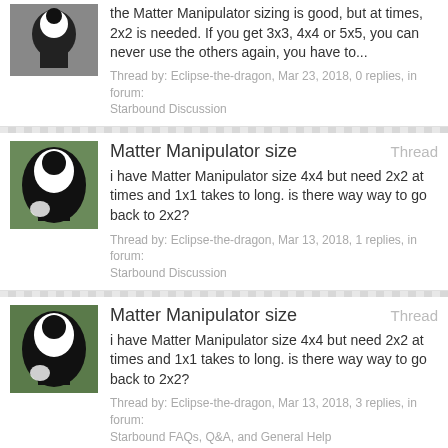the Matter Manipulator sizing is good, but at times, 2x2 is needed. If you get 3x3, 4x4 or 5x5, you can never use the others again, you have to... Thread by: Eclipse-the-dragon, Mar 23, 2018, 0 replies, in forum: Starbound Discussion
Matter Manipulator size - Thread. i have Matter Manipulator size 4x4 but need 2x2 at times and 1x1 takes to long. is there way way to go back to 2x2? Thread by: Eclipse-the-dragon, Mar 13, 2018, 1 replies, in forum: Starbound Discussion
Matter Manipulator size - Thread. i have Matter Manipulator size 4x4 but need 2x2 at times and 1x1 takes to long. is there way way to go back to 2x2? Thread by: Eclipse-the-dragon, Mar 13, 2018, 3 replies, in forum: Starbound FAQs, Q&A, and General Help
Thoughts on how to better Starbound - Thread. If honesty is the best policy, then this game sucks, and I fail to understand how people can enjoy it as much as they do. Firstly, performance... Thread by: Zeffia, Feb 4, 2018, 1 replies, in forum: Other
Modding Discussion - Im requesting a mod... - Thread. Hey everyone!Im putting this thread in the discussion area because i dunno where to put it,anyway.Id like to request a mod that is basically